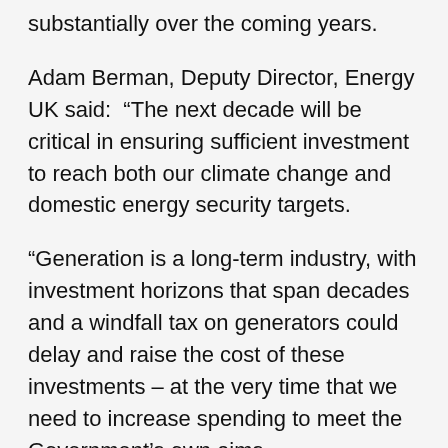substantially over the coming years.
Adam Berman, Deputy Director, Energy UK said: “The next decade will be critical in ensuring sufficient investment to reach both our climate change and domestic energy security targets.
“Generation is a long-term industry, with investment horizons that span decades and a windfall tax on generators could delay and raise the cost of these investments – at the very time that we need to increase spending to meet the Government’s own aims.
“Customers are facing a cost-of-living crisis that has been driven by international gas prices so – while the support package announced recently was very welcome – we also need to be very careful of any actions that could inadvertently push up the cost of investing in new generation, forcing consumers to